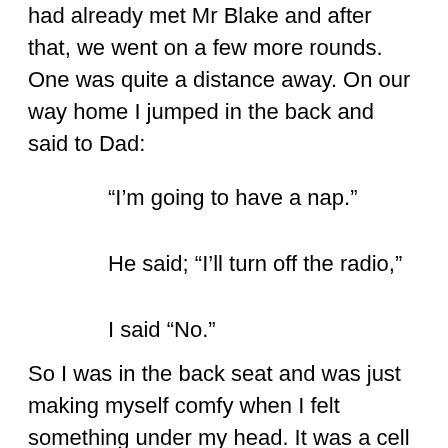had already met Mr Blake and after that, we went on a few more rounds. One was quite a distance away. On our way home I jumped in the back and said to Dad:
“I’m going to have a nap.”
He said; “I’ll turn off the radio,”
I said “No.”
So I was in the back seat and was just making myself comfy when I felt something under my head. It was a cell phone. Not a very modern one, so I knew it wasn’t Dad’s.
“Whose is this phone, Dad,” I asked. It